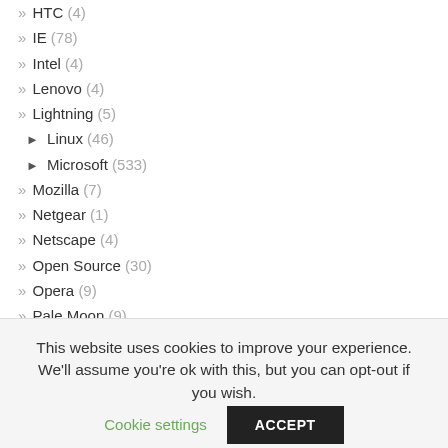» HTC (4)
» IE (78)
» Intel (4)
» Lenovo (4)
» Lightning (5)
► Linux (46)
► Microsoft (533)
» Mozilla (7)
» Netgear (1)
» Netscape (4)
» Open Source (30)
» Opera (9)
» Pale Moon (9)
» Photography (26)
» Qualcomm (2)
» Releases (414)
» Samsung (16)
» Security (118)
This website uses cookies to improve your experience. We'll assume you're ok with this, but you can opt-out if you wish.
Cookie settings | ACCEPT